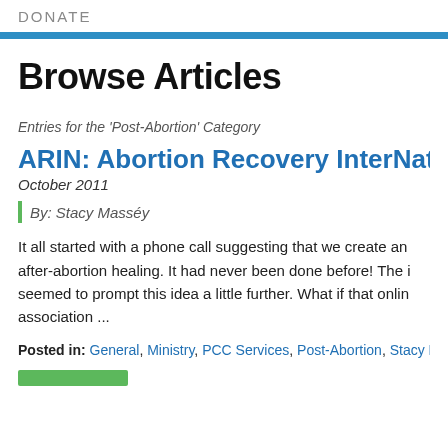DONATE
Browse Articles
Entries for the 'Post-Abortion' Category
ARIN: Abortion Recovery InterNat...
October 2011
By: Stacy Masséy
It all started with a phone call suggesting that we create an after-abortion healing. It had never been done before! The i seemed to prompt this idea a little further. What if that onlin association ...
Posted in: General, Ministry, PCC Services, Post-Abortion, Stacy Ma...